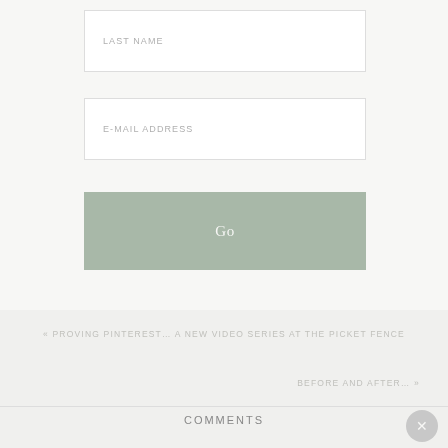LAST NAME
E-MAIL ADDRESS
Go
« PROVING PINTEREST… A NEW VIDEO SERIES AT THE PICKET FENCE
BEFORE AND AFTER… »
COMMENTS